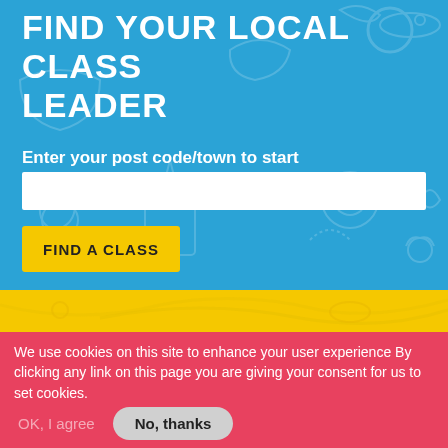FIND YOUR LOCAL CLASS LEADER
Enter your post code/town to start
FIND A CLASS
We use cookies on this site to enhance your user experience By clicking any link on this page you are giving your consent for us to set cookies.
No, give me more info
OK, I agree
No, thanks